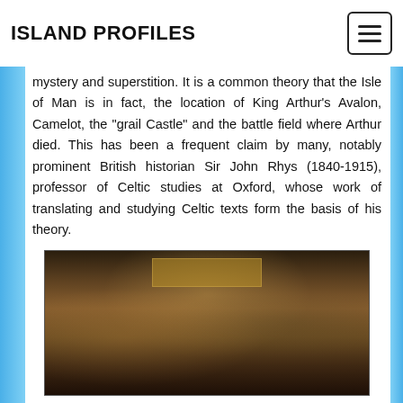ISLAND PROFILES
mystery and superstition. It is a common theory that the Isle of Man is in fact, the location of King Arthur's Avalon, Camelot, the “grail Castle” and the battle field where Arthur died. This has been a frequent claim by many, notably prominent British historian Sir John Rhys (1840-1915), professor of Celtic studies at Oxford, whose work of translating and studying Celtic texts form the basis of his theory.
[Figure (illustration): A Pre-Raphaelite style painting depicting a medieval scene with multiple figures in an ornate golden hall or temple setting, reminiscent of an Arthurian legend scene.]